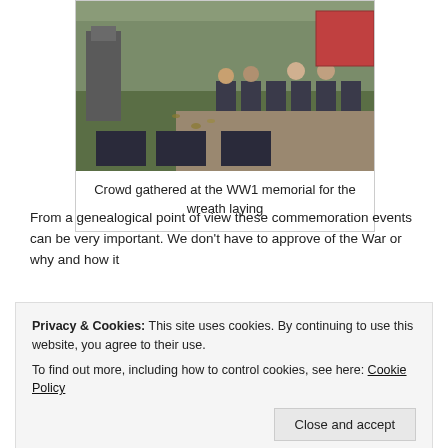[Figure (photo): Crowd gathered at a WW1 memorial outdoor ceremony with people seated on chairs around a grass area with a war memorial monument visible]
Crowd gathered at the WW1 memorial for the wreath laying
From a genealogical point of view these commemoration events can be very important. We don't have to approve of the War or why and how it
Privacy & Cookies: This site uses cookies. By continuing to use this website, you agree to their use.
To find out more, including how to control cookies, see here: Cookie Policy
Close and accept
about the lives our ancestors lived and to appreciate